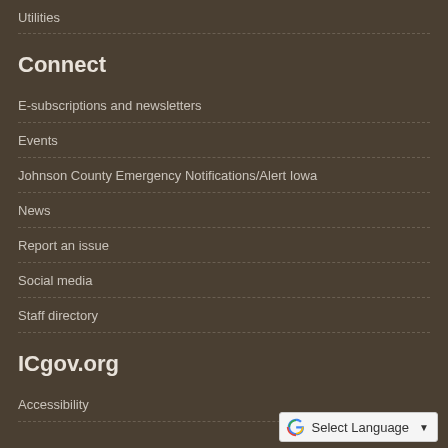Utilities
Connect
E-subscriptions and newsletters
Events
Johnson County Emergency Notifications/Alert Iowa
News
Report an issue
Social media
Staff directory
ICgov.org
Accessibility
[Figure (other): Google Translate widget button with 'Select Language' text and dropdown arrow]